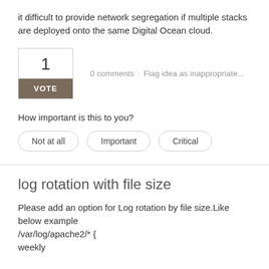it difficult to provide network segregation if multiple stacks are deployed onto the same Digital Ocean cloud.
0 comments · Flag idea as inappropriate...
1
VOTE
How important is this to you?
Not at all
Important
Critical
log rotation with file size
Please add an option for Log rotation by file size.Like below example
/var/log/apache2/* {
weekly